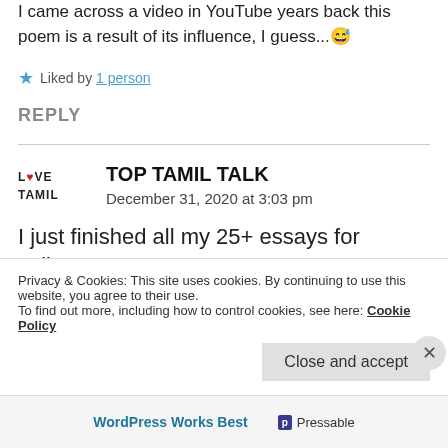I came across a video in YouTube years back this poem is a result of its influence, I guess... 😅
★ Liked by 1 person
REPLY
TOP TAMIL TALK
December 31, 2020 at 3:03 pm
I just finished all my 25+ essays for college
Privacy & Cookies: This site uses cookies. By continuing to use this website, you agree to their use.
To find out more, including how to control cookies, see here: Cookie Policy
Close and accept
WordPress Works Best   Pressable